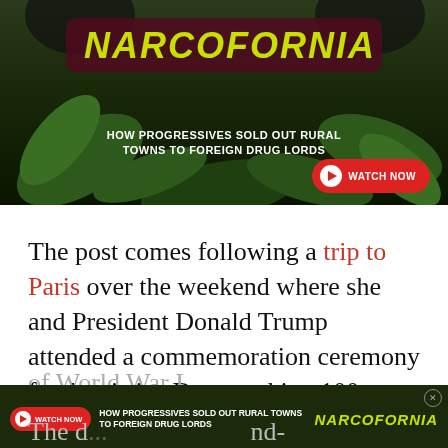[Figure (screenshot): Advertisement banner for 'Narcofornia' documentary with cannabis leaves background, maroon title box, yellow italic text reading NARCOFORNIA, subtitle HOW PROGRESSIVES SOLD OUT RURAL TOWNS TO FOREIGN DRUG LORDS, and red WATCH NOW button]
The post comes following a trip to Paris over the weekend where she and President Donald Trump attended a commemoration ceremony for Armistice Day, marking 100 years since the end of World War I.
[Figure (screenshot): Second smaller Narcofornia advertisement banner at bottom of page with WATCH NOW button, text HOW PROGRESSIVES SOLD OUT RURAL TOWNS TO FOREIGN DRUG LORDS, and NARCOFORNIA logo]
The d... nd- the... which includ...